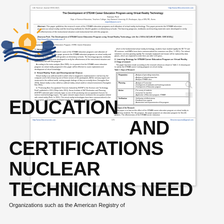[Figure (screenshot): A scanned/rendered preview of an academic journal article titled 'The Development of STEAM Career Education Program using Virtual Reality Technology' by Sunwoo Park, with abstract, body text in two columns, and a research stages table.]
[Figure (logo): Circular logo with sun and building/book motif in orange and blue, representing an educational institution.]
EDUCATION                                    AND
CERTIFICATIONS                      NUCLEAR
TECHNICIANS NEED
Organizations such as the American Registry of